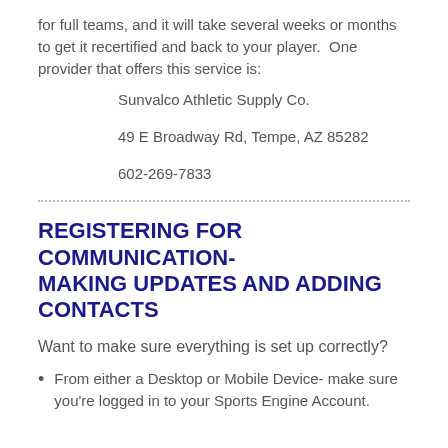for full teams, and it will take several weeks or months to get it recertified and back to your player.  One provider that offers this service is:
Sunvalco Athletic Supply Co.
49 E Broadway Rd, Tempe, AZ 85282
602-269-7833
REGISTERING FOR COMMUNICATION- MAKING UPDATES AND ADDING CONTACTS
Want to make sure everything is set up correctly?
From either a Desktop or Mobile Device- make sure you're logged in to your Sports Engine Account.